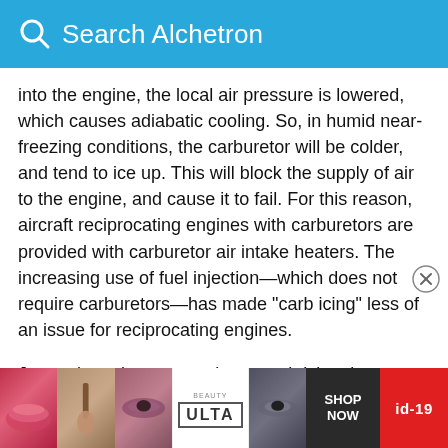Search Alchetron
into the engine, the local air pressure is lowered, which causes adiabatic cooling. So, in humid near-freezing conditions, the carburetor will be colder, and tend to ice up. This will block the supply of air to the engine, and cause it to fail. For this reason, aircraft reciprocating engines with carburetors are provided with carburetor air intake heaters. The increasing use of fuel injection—which does not require carburetors—has made "carb icing" less of an issue for reciprocating engines.
Jet engines do not experience carb icing, but recent investigations at the stopped
[Figure (advertisement): Ulta Beauty advertisement banner with makeup product images and 'SHOP NOW' text and 'id-19' badge]